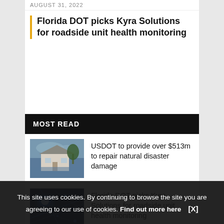AUGUST 31, 2022
Florida DOT picks Kyra Solutions for roadside unit health monitoring
MOST READ
[Figure (photo): Flooded house with water surrounding it, stormy sky]
USDOT to provide over $513m to repair natural disaster damage
[Figure (photo): Blue technology/digital themed image of a vehicle interior]
Florida DOT picks Kyra Solutions for roadside unit health monitoring
This site uses cookies. By continuing to browse the site you are agreeing to our use of cookies. Find out more here    [X]